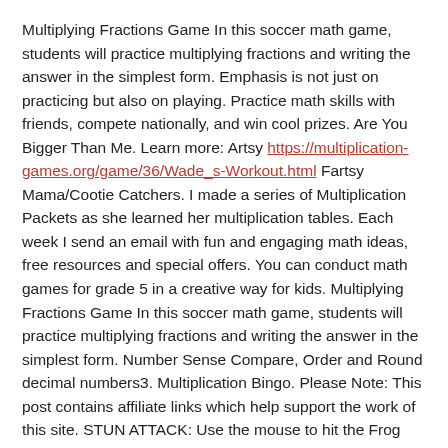Multiplying Fractions Game In this soccer math game, students will practice multiplying fractions and writing the answer in the simplest form. Emphasis is not just on practicing but also on playing. Practice math skills with friends, compete nationally, and win cool prizes. Are You Bigger Than Me. Learn more: Artsy https://multiplication-games.org/game/36/Wade_s-Workout.html Fartsy Mama/Cootie Catchers. I made a series of Multiplication Packets as she learned her multiplication tables. Each week I send an email with fun and engaging math ideas, free resources and special offers. You can conduct math games for grade 5 in a creative way for kids. Multiplying Fractions Game In this soccer math game, students will practice multiplying fractions and writing the answer in the simplest form. Number Sense Compare, Order and Round decimal numbers3. Multiplication Bingo. Please Note: This post contains affiliate links which help support the work of this site. STUN ATTACK: Use the mouse to hit the Frog with the correct answer t the problem shown. Can you find out which part of the scales is heavier. Math Magician Are you a math magician. Meteors with multiplication problems will be flying slowly towards your spaceship. Struggles with equal groups can be easily overcome if students practice the concept in a fun and engaging way. Drag 'N' Drop Math Online. This set of printable games includes 3 different games to focus on different facts. Control the bee with the keyboard's up, down, left, and right keys. You are going